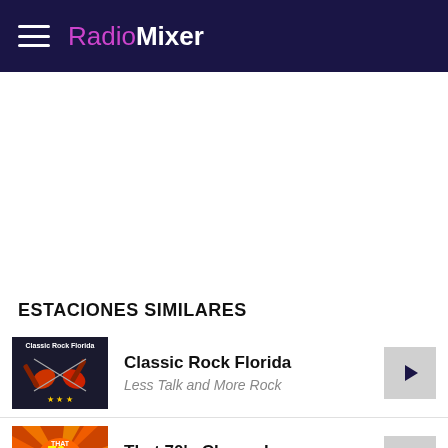RadioMixer
[Figure (other): Advertisement/empty white space area]
ESTACIONES SIMILARES
[Figure (other): Classic Rock Florida station thumbnail - crossed electric guitars on dark background]
Classic Rock Florida
Less Talk and More Rock
[Figure (other): That 70's Channel station thumbnail - retro orange/yellow sunburst design]
That 70's Channel
The Biggest Hits of the 70's